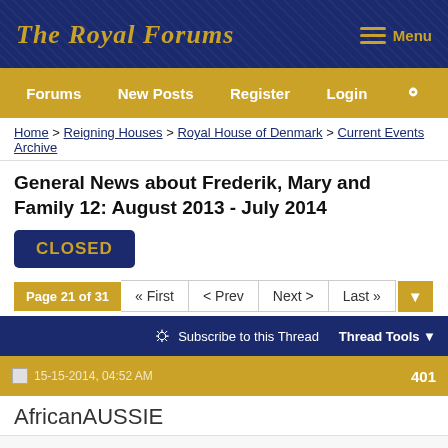The Royal Forums
Forums  New Posts  Register  Login
Home > Reigning Houses > Royal House of Denmark > Current Events Archive
General News about Frederik, Mary and Family 12: August 2013 - July 2014
CLOSED
Page 21 of 31  « First  < Prev  Next >  Last »
Subscribe to this Thread   Thread Tools
15-15-2014, 04:52 AM   401
AfricanAUSSIE
Quote: